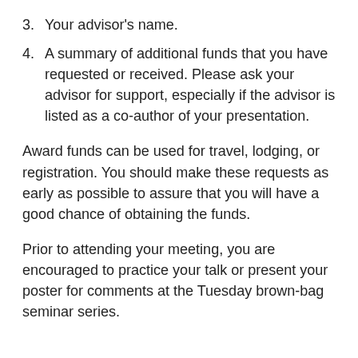3. Your advisor's name.
4. A summary of additional funds that you have requested or received. Please ask your advisor for support, especially if the advisor is listed as a co-author of your presentation.
Award funds can be used for travel, lodging, or registration. You should make these requests as early as possible to assure that you will have a good chance of obtaining the funds.
Prior to attending your meeting, you are encouraged to practice your talk or present your poster for comments at the Tuesday brown-bag seminar series.